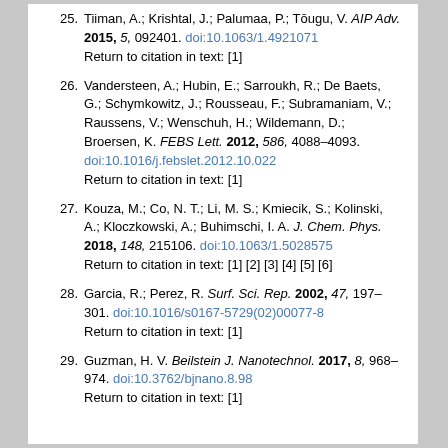25. Tiiman, A.; Krishtal, J.; Palumaa, P.; Tōugu, V. AIP Adv. 2015, 5, 092401. doi:10.1063/1.4921071 Return to citation in text: [1]
26. Vandersteen, A.; Hubin, E.; Sarroukh, R.; De Baets, G.; Schymkowitz, J.; Rousseau, F.; Subramaniam, V.; Raussens, V.; Wenschuh, H.; Wildemann, D.; Broersen, K. FEBS Lett. 2012, 586, 4088–4093. doi:10.1016/j.febslet.2012.10.022 Return to citation in text: [1]
27. Kouza, M.; Co, N. T.; Li, M. S.; Kmiecik, S.; Kolinski, A.; Kloczkowski, A.; Buhimschi, I. A. J. Chem. Phys. 2018, 148, 215106. doi:10.1063/1.5028575 Return to citation in text: [1] [2] [3] [4] [5] [6]
28. Garcia, R.; Perez, R. Surf. Sci. Rep. 2002, 47, 197–301. doi:10.1016/s0167-5729(02)00077-8 Return to citation in text: [1]
29. Guzman, H. V. Beilstein J. Nanotechnol. 2017, 8, 968–974. doi:10.3762/bjnano.8.98 Return to citation in text: [1]